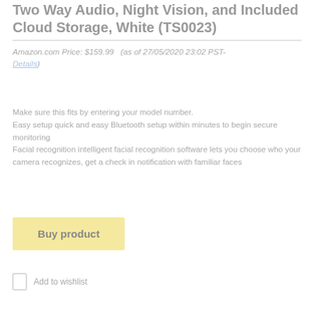Two Way Audio, Night Vision, and Included Cloud Storage, White (TS0023)
Amazon.com Price: $159.99  (as of 27/05/2020 23:02 PST- Details)
Make sure this fits by entering your model number.
Easy setup quick and easy Bluetooth setup within minutes to begin secure monitoring
Facial recognition intelligent facial recognition software lets you choose who your camera recognizes, get a check in notification with familiar faces
Buy product
Add to wishlist